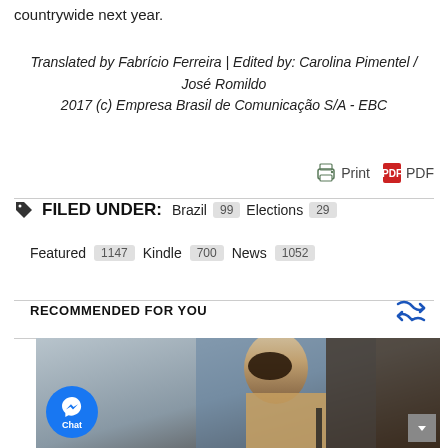countrywide next year.
Translated by Fabrício Ferreira | Edited by: Carolina Pimentel / José Romildo
2017 (c) Empresa Brasil de Comunicação S/A - EBC
Print  PDF
FILED UNDER:  Brazil 99  Elections 29  Featured 1147  Kindle 700  News 1052
RECOMMENDED FOR YOU
[Figure (photo): Photo of a woman speaking at a podium with a microphone, appearing to be at a formal event or press conference]